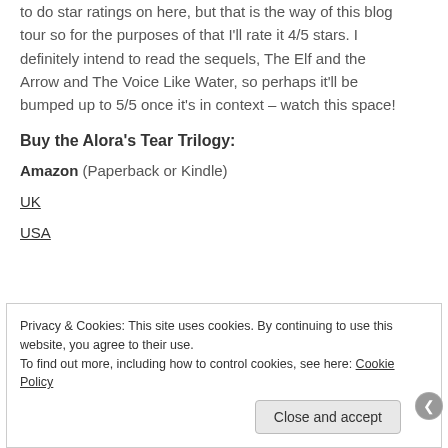to do star ratings on here, but that is the way of this blog tour so for the purposes of that I'll rate it 4/5 stars. I definitely intend to read the sequels, The Elf and the Arrow and The Voice Like Water, so perhaps it'll be bumped up to 5/5 once it's in context – watch this space!
Buy the Alora's Tear Trilogy:
Amazon (Paperback or Kindle)
UK
USA
Privacy & Cookies: This site uses cookies. By continuing to use this website, you agree to their use.
To find out more, including how to control cookies, see here: Cookie Policy
Close and accept